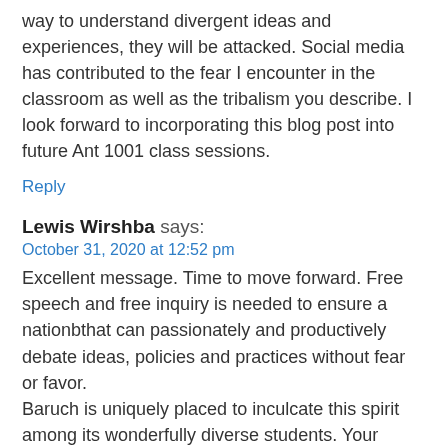way to understand divergent ideas and experiences, they will be attacked. Social media has contributed to the fear I encounter in the classroom as well as the tribalism you describe. I look forward to incorporating this blog post into future Ant 1001 class sessions.
Reply
Lewis Wirshba says:
October 31, 2020 at 12:52 pm
Excellent message. Time to move forward. Free speech and free inquiry is needed to ensure a nationbthat can passionately and productively debate ideas, policies and practices without fear or favor.
Baruch is uniquely placed to inculcate this spirit among its wonderfully diverse students. Your leadership in this area is much welcomed!!